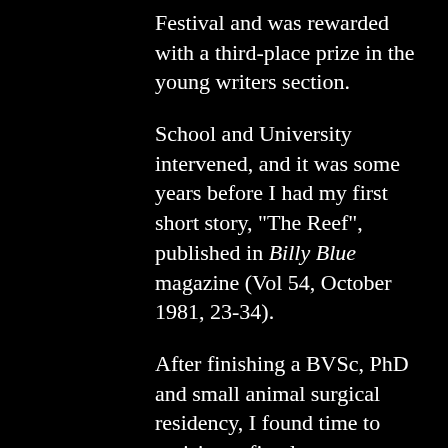Festival and was rewarded with a third-place prize in the young writers section.
School and University intervened, and it was some years before I had my first short story, "The Reef", published in Billy Blue magazine (Vol 54, October 1981, 23-34).
After finishing a BVSc, PhD and small animal surgical residency, I found time to revisit my first love.
In 1995, my short story, "Sunset Sonata", was awarded equal third place in the Todhunter Literary Awards. I was in good company; all three of my fellow recipients went